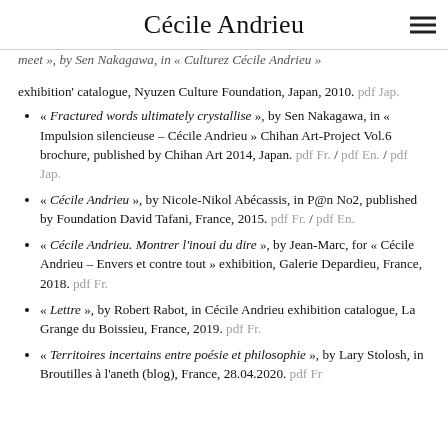Cécile Andrieu
« meet », by Sen Nakagawa, in « Culturez Cécile Andrieu » exhibition' catalogue, Nyuzen Culture Foundation, Japan, 2010. pdf Jap.
« Fractured words ultimately crystallise », by Sen Nakagawa, in « Impulsion silencieuse – Cécile Andrieu » Chihan Art-Project Vol.6 brochure, published by Chihan Art 2014, Japan. pdf Fr. / pdf En. / pdf Jap.
« Cécile Andrieu », by Nicole-Nikol Abécassis, in P@n No2, published by Foundation David Tafani, France, 2015. pdf Fr. / pdf En.
« Cécile Andrieu. Montrer l'inoui du dire », by Jean-Marc, for « Cécile Andrieu – Envers et contre tout » exhibition, Galerie Depardieu, France, 2018. pdf Fr.
« Lettre », by Robert Rabot, in Cécile Andrieu exhibition catalogue, La Grange du Boissieu, France, 2019. pdf Fr.
« Territoires incertains entre poésie et philosophie », by Lary Stolosh, in Broutilles à l'aneth (blog), France, 28.04.2020. pdf Fr